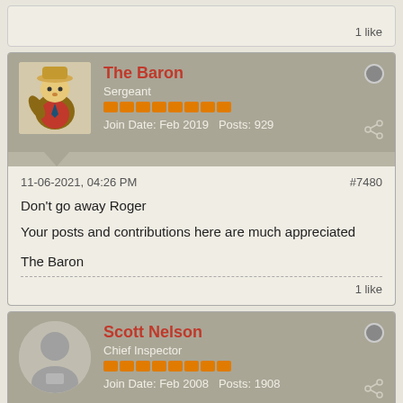1 like
The Baron
Sergeant
Join Date: Feb 2019  Posts: 929
11-06-2021, 04:26 PM
#7480
Don't go away Roger

Your posts and contributions here are much appreciated

The Baron
1 like
Scott Nelson
Chief Inspector
Join Date: Feb 2008  Posts: 1908